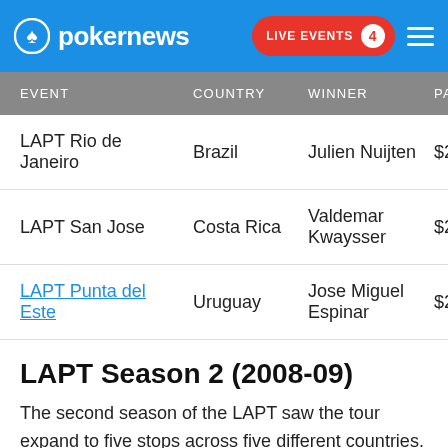pokernews — LIVE EVENTS 4
| EVENT | COUNTRY | WINNER | PAYO |
| --- | --- | --- | --- |
| LAPT Rio de Janeiro | Brazil | Julien Nuijten | $2 |
| LAPT San Jose | Costa Rica | Valdemar Kwaysser | $2 |
| LAPT Punta del Este | Uruguay | Jose Miguel Espinar | $2 |
LAPT Season 2 (2008-09)
The second season of the LAPT saw the tour expand to five stops across five different countries. The second season is perhaps most well-known for the cancellation of LAPT Nuevo Vallarta in Mexico. The tournament was brought to a halt with 89 players remaining after being broken up by local authorities due to unknown reasons.